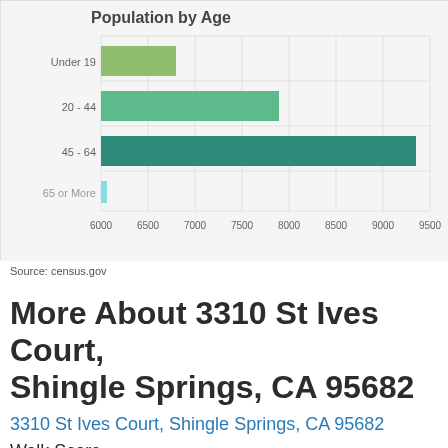[Figure (bar-chart): Population by Age]
Source: census.gov
More About 3310 St Ives Court, Shingle Springs, CA 95682
3310 St Ives Court, Shingle Springs, CA 95682
Walk Score